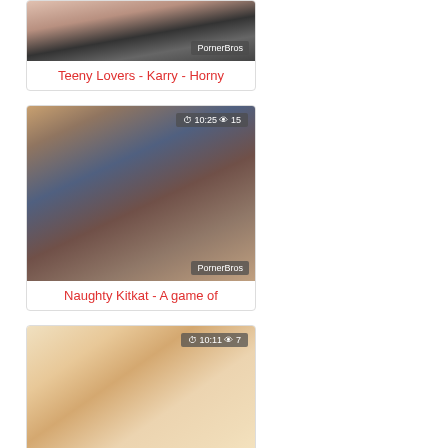[Figure (screenshot): Thumbnail image for video 'Teeny Lovers - Karry - Horny' with PornerBros watermark]
Teeny Lovers - Karry - Horny
[Figure (screenshot): Thumbnail image for video 'Naughty Kitkat - A game of' with duration 10:25, 15 views, and PornerBros watermark]
Naughty Kitkat - A game of
[Figure (screenshot): Thumbnail image for video 'Blonde Amber Jayne vibes' with duration 10:11, 7 views, and PornerBros watermark]
Blonde Amber Jayne vibes